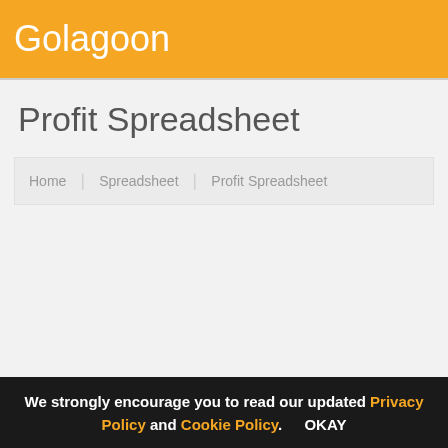Golagoon
Profit Spreadsheet
Home | Spreadsheet | Profit Spreadsheet
We strongly encourage you to read our updated Privacy Policy and Cookie Policy. OKAY